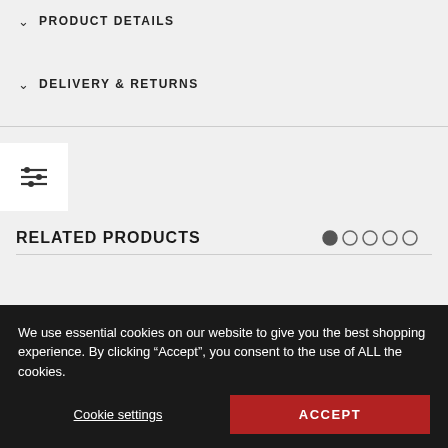PRODUCT DETAILS
DELIVERY & RETURNS
[Figure (other): Filter/equalizer icon button]
RELATED PRODUCTS
[Figure (other): Pagination dots with first dot active]
[Figure (photo): Product photo of a black choker/ring on white mannequin bust, left card]
[Figure (photo): Product photo of a black leather choker necklace with metal detail on right, partially shown]
We use essential cookies on our website to give you the best shopping experience. By clicking “Accept”, you consent to the use of ALL the cookies.
Cookie settings
ACCEPT